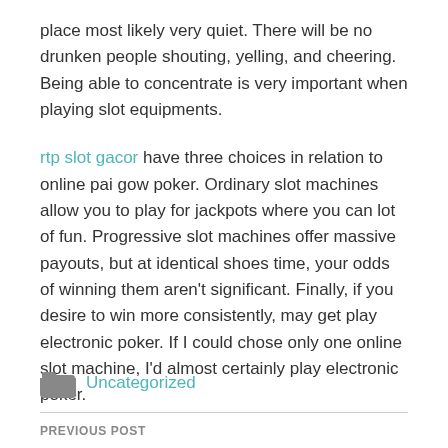place most likely very quiet. There will be no drunken people shouting, yelling, and cheering. Being able to concentrate is very important when playing slot equipments.
rtp slot gacor have three choices in relation to online pai gow poker. Ordinary slot machines allow you to play for jackpots where you can lot of fun. Progressive slot machines offer massive payouts, but at identical shoes time, your odds of winning them aren't significant. Finally, if you desire to win more consistently, may get play electronic poker. If I could chose only one online slot machine, I'd almost certainly play electronic poker.
Uncategorized
PREVIOUS POST